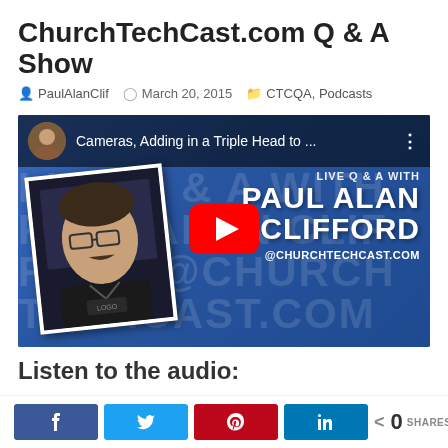ChurchTechCast.com Q & A Show
PaulAlanClif  March 20, 2015  CTCQA, Podcasts
[Figure (screenshot): YouTube video embed thumbnail showing 'Cameras, Adding in a Triple Head to ...' with a Live Q & A With Paul Alan Clifford @ChurchTechCast.com branding on a blue background. A person's photo is overlaid on the left side. A red YouTube play button is centered.]
Listen to the audio:
k  t  P  in  < 0 SHARES